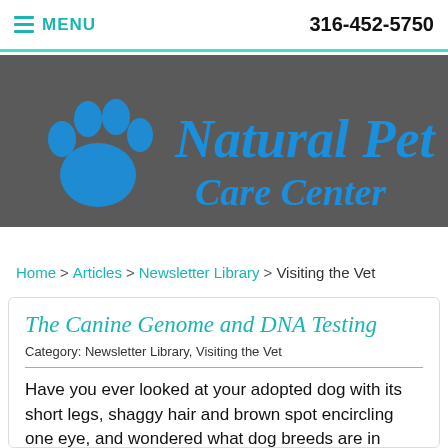MENU   316-452-5750
[Figure (logo): Natural Pet Care Center logo with blue paw print and blue text on dark gray background]
Home > Articles > Newsletter Library > Visiting the Vet
The Canine Genome and DNA Testing
Category: Newsletter Library, Visiting the Vet
Have you ever looked at your adopted dog with its short legs, shaggy hair and brown spot encircling one eye, and wondered what dog breeds are in there?